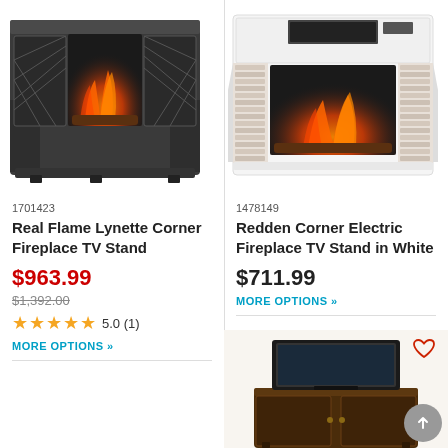[Figure (photo): Dark/charcoal corner electric fireplace TV stand with decorative lattice doors and glowing flame insert]
1701423
Real Flame Lynette Corner Fireplace TV Stand
$963.99
$1,392.00 (strikethrough)
★★★★★ 5.0 (1)
MORE OPTIONS »
[Figure (photo): White corner electric fireplace TV stand with faux brick surround and open shelf above the flame insert]
1478149
Redden Corner Electric Fireplace TV Stand in White
$711.99
MORE OPTIONS »
[Figure (photo): Dark cherry/espresso corner TV stand with a flat-screen TV on top, partially visible at bottom right of page]